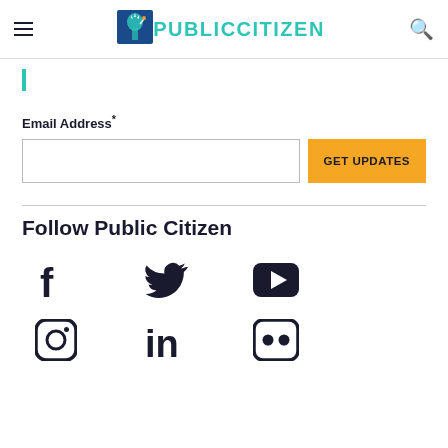PUBLIC CITIZEN
[Figure (logo): Public Citizen logo with Statue of Liberty icon and teal text PUBLICCITIZEN]
Email Address*
GET UPDATES
Follow Public Citizen
[Figure (infographic): Social media icons: Facebook, Twitter, YouTube, Instagram, LinkedIn, Flickr]